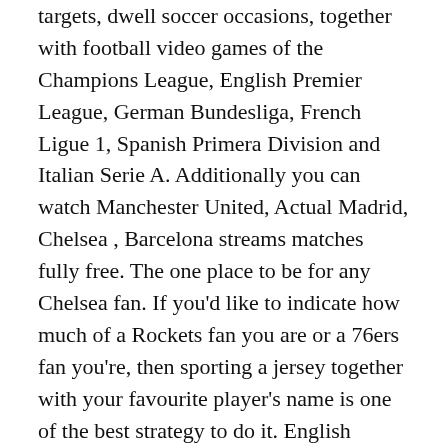targets, dwell soccer occasions, together with football video games of the Champions League, English Premier League, German Bundesliga, French Ligue 1, Spanish Primera Division and Italian Serie A. Additionally you can watch Manchester United, Actual Madrid, Chelsea , Barcelona streams matches fully free. The one place to be for any Chelsea fan. If you'd like to indicate how much of a Rockets fan you are or a 76ers fan you're, then sporting a jersey together with your favourite player's name is one of the best strategy to do it. English Premier League was began within the 1888. Since then it is a well-liked. You possibly can click on any participant from the roster on the appropriate and see his personal info similar to nationality, date of beginning, top, preferred